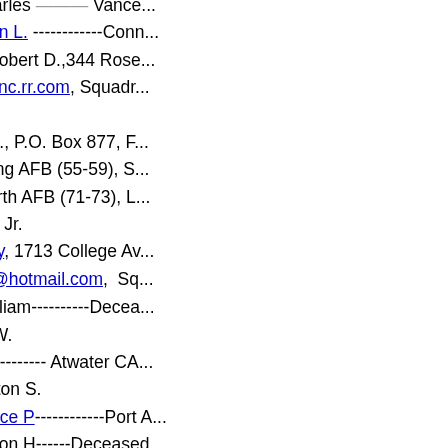Bergmann, Charles ------ Vance...
Blanchard, Elton L. ------------Conn...
Bloodsworth, Robert D.,344 Rose... rbloodsworth@nc.rr.com, Squadr... (71-76)
Boaz, Clifford L., P.O. Box 877, F... Squadron: Loring AFB (55-59), S... (69-71), Ellsworth AFB (71-73), L...
Bosley,Hugh B. Jr.
Bradford, Rocky, 1713 College Av... RockyAChief2@hotmail.com,  Sq...
* Bratcher, William----------Decea...
Britton,James W.
Brown, John R -------- Atwater CA...
Bumbacher.Milton S.
Burbick, Clarence P------------Port A...
Callahan, Nelson H------Deceased...
Carlucci,John A
Carter,Thomas A.
* Casenhiser, David I----------- De...
Casey, Donald L. -------Guthrie Oh...
Cassell,Winfred R. , 157 Hurt Roa... Squadron: Seymour Johnson AFB...
Catrow, Robert W., Martinsburg, V...